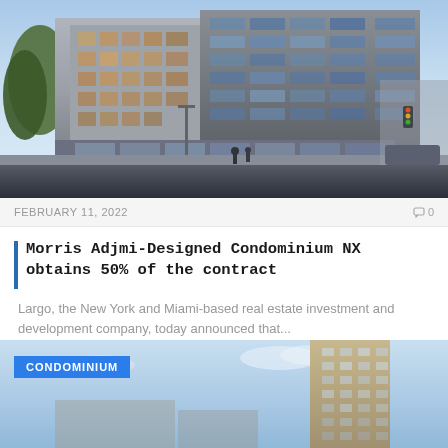[Figure (photo): Architectural rendering of a modern multi-story condominium building at a street corner, with trees and pedestrians in the foreground.]
FEBRUARY 11, 2022
0
Morris Adjmi-Designed Condominium NX obtains 50% of the contract
Largo, the New York and Miami-based real estate investment and development company, today announced that...
[Figure (photo): Partial view of a condominium building against a blue sky, with a CONDOMINIUM label overlay in blue.]